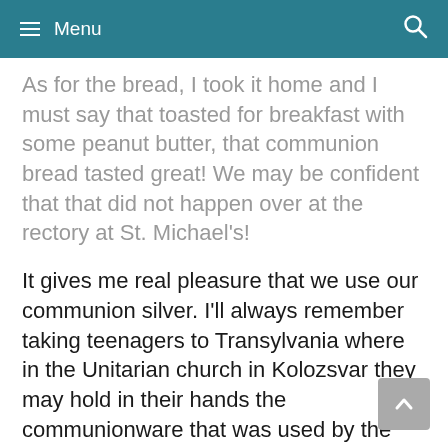≡ Menu
As for the bread, I took it home and I must say that toasted for breakfast with some peanut butter, that communion bread tasted great! We may be confident that that did not happen over at the rectory at St. Michael's!
It gives me real pleasure that we use our communion silver. I'll always remember taking teenagers to Transylvania where in the Unitarian church in Kolozsvar they may hold in their hands the communionware that was used by the Unitarian martyr Francis David in the 16th century. Many of our kids have never before seen or touched